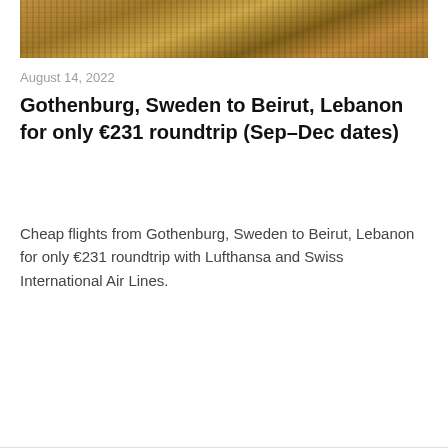[Figure (photo): Aerial or wide-angle photo of an ancient or historic site with warm golden-brown tones, possibly a temple or archaeological site]
August 14, 2022
Gothenburg, Sweden to Beirut, Lebanon for only €231 roundtrip (Sep–Dec dates)
Cheap flights from Gothenburg, Sweden to Beirut, Lebanon for only €231 roundtrip with Lufthansa and Swiss International Air Lines.